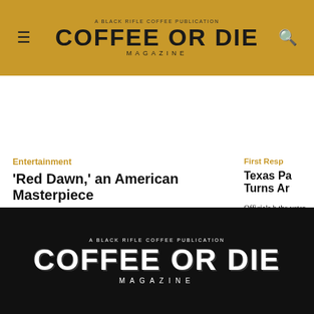COFFEE OR DIE MAGAZINE — A Black Rifle Coffee Publication
[Figure (photo): Left: dark silhouette landscape against orange-red sky. Right: partial image with blue and white checkered/striped pattern.]
Entertainment
'Red Dawn,' an American Masterpiece
In the 38 years since the film's release, John Milius' "Red Dawn" has been vindicated by modern conflicts that reflect the filmmaker's vision of how an invading army is defeated by an insurgency of its own making.
September 3, 2022 · Ethan E. Rocke
First Resp
Texas Pa Turns Ar
Officials b the veter distresse shoulder Tuesday.
COFFEE OR DIE MAGAZINE — A Black Rifle Coffee Publication